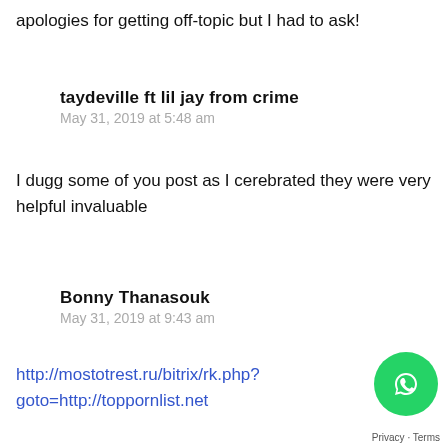apologies for getting off-topic but I had to ask!
taydeville ft lil jay from crime
May 31, 2019 at 5:48 am
I dugg some of you post as I cerebrated they were very helpful invaluable
Bonny Thanasouk
May 31, 2019 at 9:43 am
http://mostotrest.ru/bitrix/rk.php?goto=http://toppornlist.net